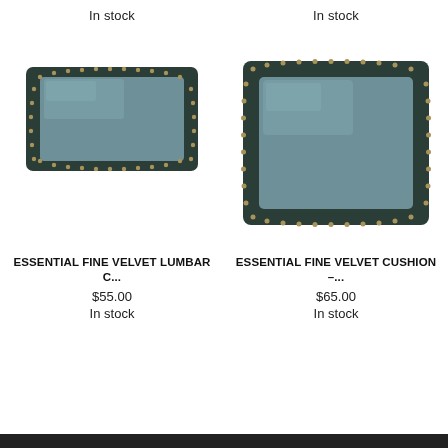In stock
In stock
[Figure (photo): Teal/slate blue velvet lumbar cushion with dark border and gold stud trim]
[Figure (photo): Teal/slate blue velvet square cushion with dark border and gold stud trim]
ESSENTIAL FINE VELVET LUMBAR C...
$55.00
In stock
ESSENTIAL FINE VELVET CUSHION –...
$65.00
In stock